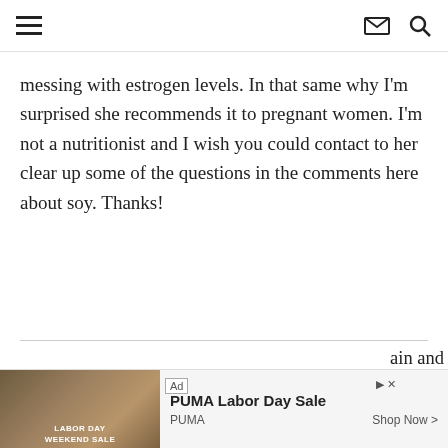[hamburger menu] [envelope icon] [search icon]
messing with estrogen levels. In that same why I'm surprised she recommends it to pregnant women. I'm not a nutritionist and I wish you could contact to her clear up some of the questions in the comments here about soy. Thanks!
JANAE • APRIL 29, 2012 AT 1:29 PM • REPLY
Christina, thank you so so much for your
[Figure (screenshot): Advertisement banner: PUMA Labor Day Sale ad with image of athlete and text 'PUMA Labor Day Sale', brand 'PUMA', 'Shop Now >' button, Ad label, close and play buttons]